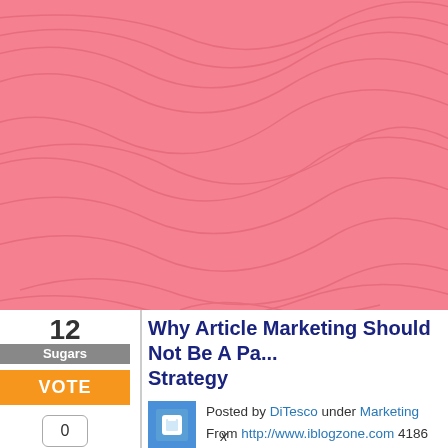[Figure (illustration): Pink/salmon colored decorative header banner with topographic contour line pattern overlay]
Why Article Marketing Should Not Be A Pa... Strategy
Posted by DiTesco under Marketing
From http://www.iblogzone.com 4186 days ago
12 Sugars VOTE 0 Comment